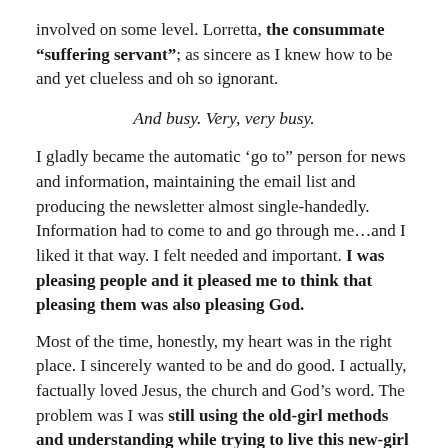involved on some level. Lorretta, the consummate “suffering servant”; as sincere as I knew how to be and yet clueless and oh so ignorant.
And busy. Very, very busy.
I gladly became the automatic ‘go to” person for news and information, maintaining the email list and producing the newsletter almost single-handedly. Information had to come to and go through me…and I liked it that way. I felt needed and important. I was pleasing people and it pleased me to think that pleasing them was also pleasing God.
Most of the time, honestly, my heart was in the right place. I sincerely wanted to be and do good. I actually, factually loved Jesus, the church and God’s word. The problem was I was still using the old-girl methods and understanding while trying to live this new-girl life.